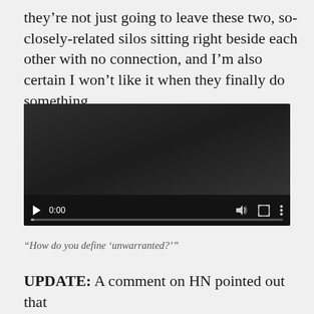they’re not just going to leave these two, so-closely-related silos sitting right beside each other with no connection, and I’m also certain I won’t like it when they finally do something.
[Figure (screenshot): Video player embed showing a dark/black video frame with playback controls at the bottom: play button, time counter showing 0:00, volume icon, fullscreen icon, and menu icon. A progress bar is shown at the very bottom.]
“How do you define ‘unwarranted?’”
UPDATE: A comment on HN pointed out that